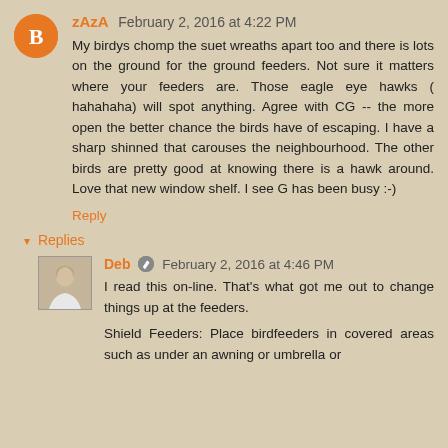zAzA February 2, 2016 at 4:22 PM
My birdys chomp the suet wreaths apart too and there is lots on the ground for the ground feeders. Not sure it matters where your feeders are. Those eagle eye hawks ( hahahaha) will spot anything. Agree with CG -- the more open the better chance the birds have of escaping. I have a sharp shinned that carouses the neighbourhood. The other birds are pretty good at knowing there is a hawk around. Love that new window shelf. I see G has been busy :-)
Reply
▾ Replies
Deb ✏ February 2, 2016 at 4:46 PM
I read this on-line. That's what got me out to change things up at the feeders.
Shield Feeders: Place birdfeeders in covered areas such as under an awning or umbrella or